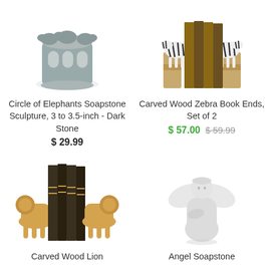[Figure (photo): Circle of Elephants Soapstone Sculpture, gray ceramic elephant circle sculpture]
Circle of Elephants Soapstone Sculpture, 3 to 3.5-inch - Dark Stone
$ 29.99
[Figure (photo): Carved Wood Zebra Book Ends, Set of 2 — two zebra-shaped wooden bookends]
Carved Wood Zebra Book Ends, Set of 2
$ 57.00  $ 59.99
[Figure (photo): Carved Wood Lion bookends with two hardcover books between them]
Carved Wood Lion
[Figure (photo): Angel Soapstone white ceramic angel figurine sculpture]
Angel Soapstone